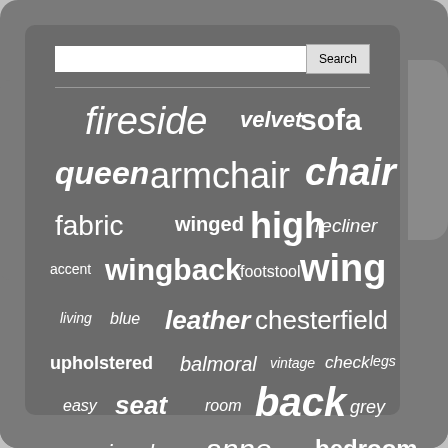[Figure (infographic): Word cloud on a dark grey tablet/device interface showing furniture-related search terms in varying font sizes and styles. Larger words include: fireside, chair, armchair, wing, wingback, back, lounge. Smaller words include: velvet, sofa, queen, fabric, winged, high, recliner, accent, footstool, living, blue, leather, chesterfield, upholstered, balmoral, vintage, check, legs, easy, seat, room, grey, occasional, anne, button, bedroom, green, tartan.]